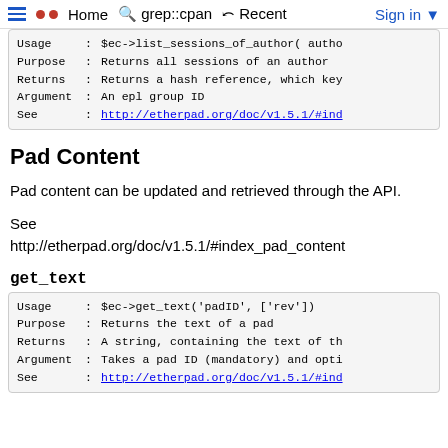Home  grep::cpan  Recent  Sign in
| Usage | : | $ec->list_sessions_of_author( autho |
| Purpose | : | Returns all sessions of an author |
| Returns | : | Returns a hash reference, which key |
| Argument | : | An epl group ID |
| See | : | http://etherpad.org/doc/v1.5.1/#ind |
Pad Content
Pad content can be updated and retrieved through the API.
See
http://etherpad.org/doc/v1.5.1/#index_pad_content
get_text
| Usage | : | $ec->get_text('padID', ['rev']) |
| Purpose | : | Returns the text of a pad |
| Returns | : | A string, containing the text of th |
| Argument | : | Takes a pad ID (mandatory) and opti |
| See | : | http://etherpad.org/doc/v1.5.1/#ind |